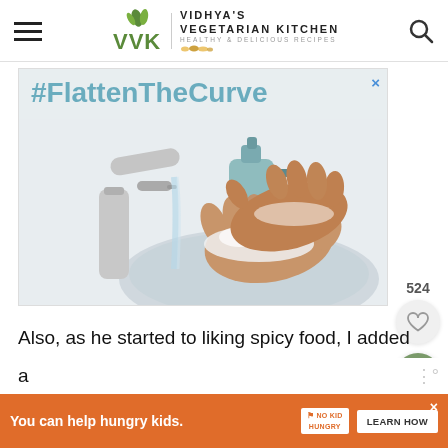Vidhya's Vegetarian Kitchen — Healthy & Delicious Recipes
[Figure (screenshot): Advertisement banner with #FlattenTheCurve hashtag above a photo of hands being washed with soap under a running faucet, with a soap dispenser in the background]
Also, as he started to liking spicy food, I added
[Figure (screenshot): Bottom advertisement banner: orange background with text 'You can help hungry kids.' and No Kid Hungry logo and LEARN HOW button]